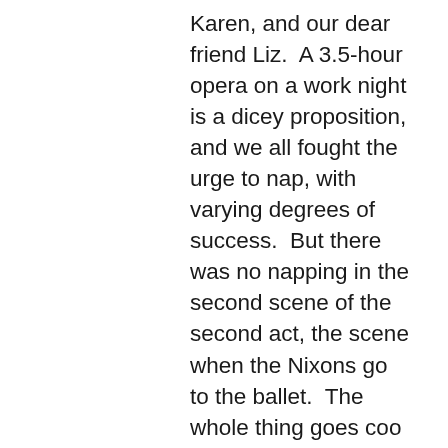Karen, and our dear friend Liz.  A 3.5-hour opera on a work night is a dicey proposition, and we all fought the urge to nap, with varying degrees of success.  But there was no napping in the second scene of the second act, the scene when the Nixons go to the ballet.  The whole thing goes coo coo: Kissinger plays the villain in the ballet, whipping a girl to death - - Pat rushes onstage trying to save her - - it starts to rain - - they're transported to what looks like Oahu - - the curtain closes and Madame Mao strides in front of it, pacing around menacingly, then the curtain opens back up to reveal the same thing we were looking at before - - and the act ends with Madame Mao waving around